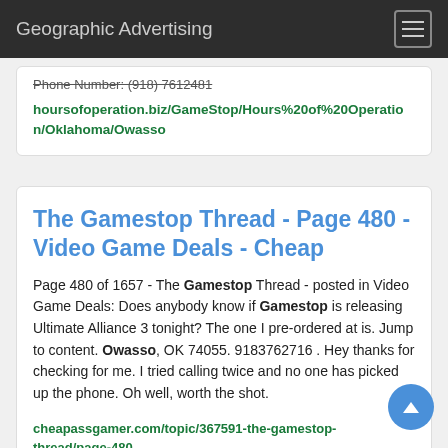Geographic Advertising
Phone Number: (918) 7612481
hoursofoperation.biz/GameStop/Hours%20of%20Operation/Oklahoma/Owasso
The Gamestop Thread - Page 480 - Video Game Deals - Cheap
Page 480 of 1657 - The Gamestop Thread - posted in Video Game Deals: Does anybody know if Gamestop is releasing Ultimate Alliance 3 tonight? The one I pre-ordered at is. Jump to content. Owasso, OK 74055. 9183762716 . Hey thanks for checking for me. I tried calling twice and no one has picked up the phone. Oh well, worth the shot.
cheapassgamer.com/topic/367591-the-gamestop-thread/page-480